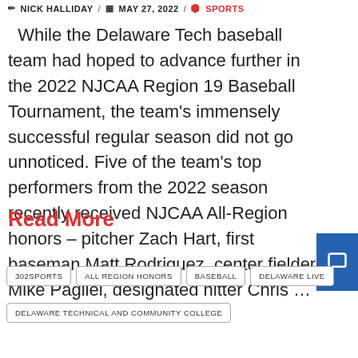NICK HALLIDAY / MAY 27, 2022 / SPORTS
While the Delaware Tech baseball team had hoped to advance further in the 2022 NJCAA Region 19 Baseball Tournament, the team's immensely successful regular season did not go unnoticed. Five of the team's top performers from the 2022 season recently received NJCAA All-Region honors – pitcher Zach Hart, first baseman Matt Rodriguez, center fielder Mike Pagliei, designated hitter Chris …
Read More
302SPORTS
ALL REGION HONORS
BASEBALL
DELAWARE LIVE
DELAWARE TECHNICAL AND COMMUNITY COLLEGE